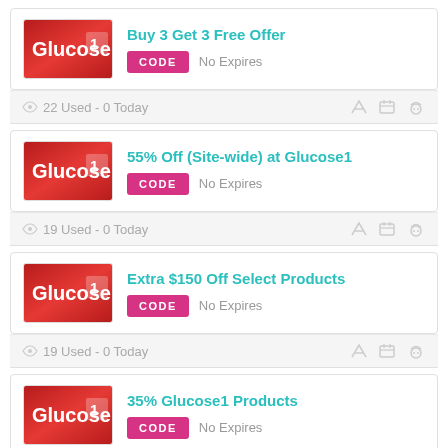[Figure (logo): Glucose1 brand logo - red background with white text]
Buy 3 Get 3 Free Offer
CODE   No Expires
22 Used - 0 Today
[Figure (logo): Glucose1 brand logo - red background with white text]
55% Off (Site-wide) at Glucose1
CODE   No Expires
19 Used - 0 Today
[Figure (logo): Glucose1 brand logo - red background with white text]
Extra $150 Off Select Products
CODE   No Expires
19 Used - 0 Today
[Figure (logo): Glucose1 brand logo - red background with white text]
35% Glucose1 Products
CODE   No Expires